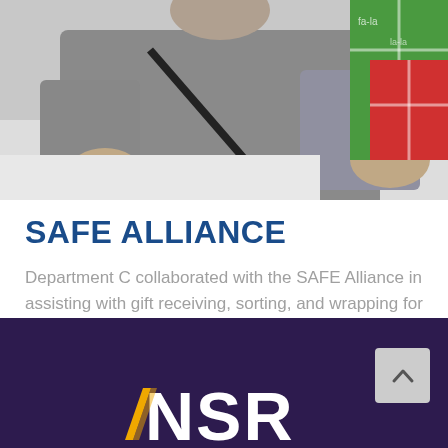[Figure (photo): Photo of a person in a grey long-sleeve shirt sitting at a table with wrapped gift boxes in green and red holiday wrapping paper visible in the background.]
SAFE ALLIANCE
Department C collaborated with the SAFE Alliance in assisting with gift receiving, sorting, and wrapping for survivors of domestic and sexual abuse.
[Figure (logo): NSR organization logo in white/gold on dark purple footer background, partially visible at bottom of page.]